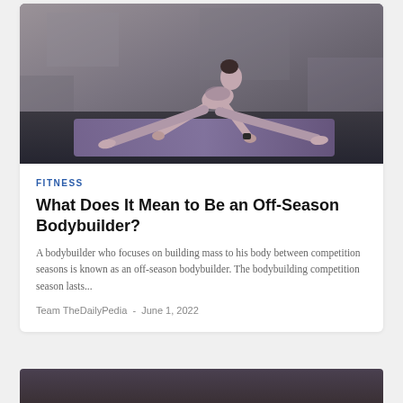[Figure (photo): Woman in athletic wear performing a low lunge stretch pose on a purple yoga mat in a dark gym setting with concrete walls]
FITNESS
What Does It Mean to Be an Off-Season Bodybuilder?
A bodybuilder who focuses on building mass to his body between competition seasons is known as an off-season bodybuilder. The bodybuilding competition season lasts...
Team TheDailyPedia  -  June 1, 2022
[Figure (photo): Partially visible second article image at bottom of page, dark background]